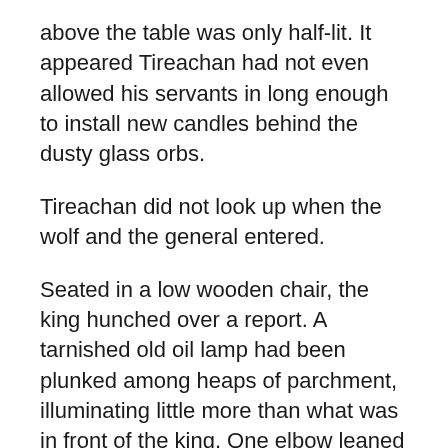above the table was only half-lit. It appeared Tireachan had not even allowed his servants in long enough to install new candles behind the dusty glass orbs.
Tireachan did not look up when the wolf and the general entered.
Seated in a low wooden chair, the king hunched over a report. A tarnished old oil lamp had been plunked among heaps of parchment, illuminating little more than what was in front of the king. One elbow leaned upon the table, the king's fist pressed against his temple. In his other hand, yet another message from which his sharp green eyes did not waver